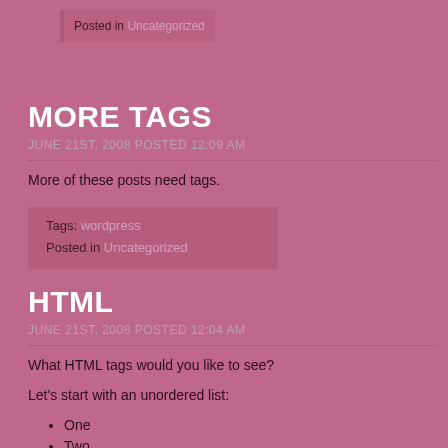Posted in Uncategorized
MORE TAGS
JUNE 21ST, 2008 POSTED 12:09 AM
More of these posts need tags.
Tags: wordpress
Posted in Uncategorized
HTML
JUNE 21ST, 2008 POSTED 12:04 AM
What HTML tags would you like to see?
Let's start with an unordered list:
One
Two
Three